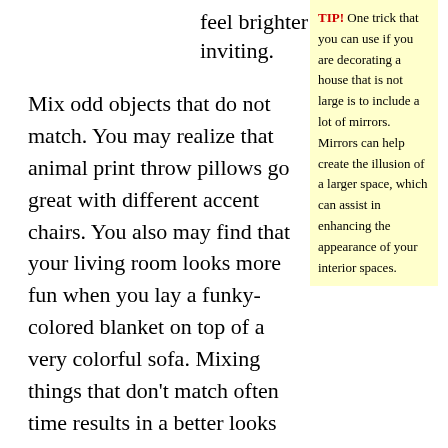feel brighter and inviting.
Mix odd objects that do not match. You may realize that animal print throw pillows go great with different accent chairs. You also may find that your living room looks more fun when you lay a funky-colored blanket on top of a very colorful sofa. Mixing things that don’t match often time results in a better looks than you might believe.
TIP! One trick that you can use if you are decorating a house that is not large is to include a lot of mirrors. Mirrors can help create the illusion of a larger space, which can assist in enhancing the appearance of your interior spaces.